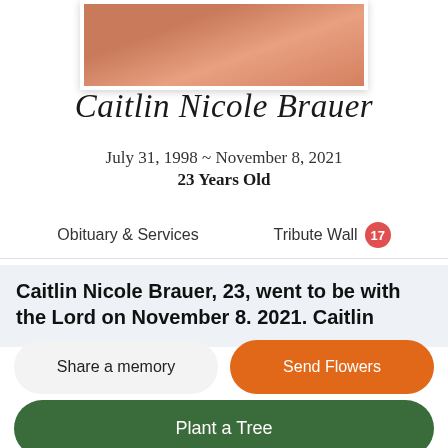[Figure (photo): Photo of Caitlin Nicole Brauer, cropped at top of page]
Caitlin Nicole Brauer
July 31, 1998 ~ November 8, 2021
23 Years Old
Obituary & Services	Tribute Wall 17
Caitlin Nicole Brauer, 23, went to be with the Lord on November 8. 2021. Caitlin
Share a memory
Send Flowers
Plant a Tree